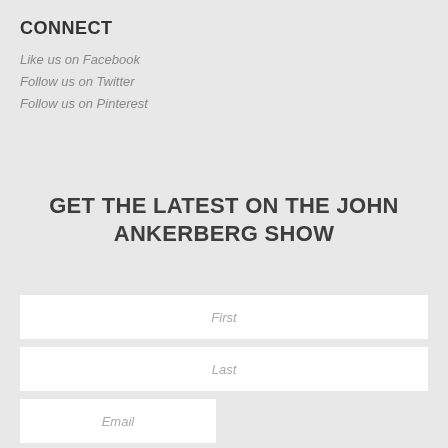CONNECT
Like us on Facebook
Follow us on Twitter
Follow us on Pinterest
GET THE LATEST ON THE JOHN ANKERBERG SHOW
[Figure (other): Three form input fields: First (text input, full width), Last (text input, full width), Email (text input, half width)]